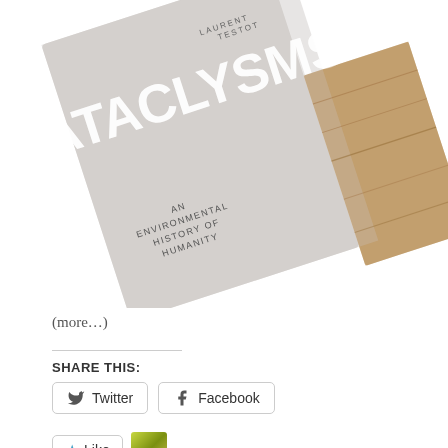[Figure (photo): Book cover of 'Cataclysms: An Environmental History of Humanity' by Laurent Testot, shown at an angle. The cover has a light gray/misty background with large white text reading 'CATACLYSMS' and smaller text 'AN ENVIRONMENTAL HISTORY OF HUMANITY'. The right side shows a rocky/canyon landscape photograph.]
(more...)
SHARE THIS:
Twitter
Facebook
Like
One blogger likes this.
Posted in environmental history and tagged African slavery